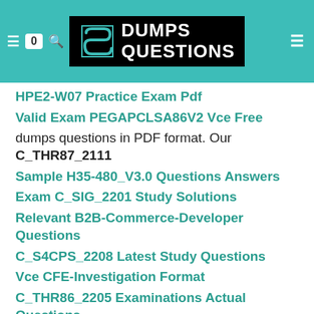[Figure (logo): DumpsQuestions logo on teal header background with shopping cart icon showing 0 and search icon on left, menu icon on right]
HPE2-W07 Practice Exam Pdf
Valid Exam PEGAPCLSA86V2 Vce Free
dumps questions in PDF format. Our C_THR87_2111
Sample H35-480_V3.0 Questions Answers
Exam C_SIG_2201 Study Solutions
Relevant B2B-Commerce-Developer Questions
C_S4CPS_2208 Latest Study Questions
Vce CFE-Investigation Format
C_THR86_2205 Examinations Actual Questions
PAM-SEN Test Centres
ESDP2201B Related Exams
Valid C_HRHFC_2205 Test Guide
1Z0-1078-21 Test Simulator Free
Exam 250-571 Discount
Reliable H35-211_V2.5 Exam Pattern
HP2-I44 Pass Exam